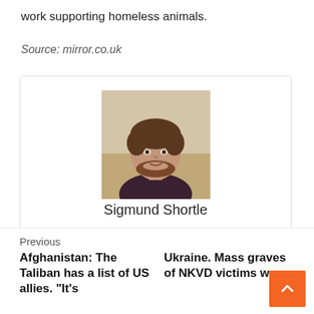work supporting homeless animals.
Source: mirror.co.uk
[Figure (photo): Headshot photo of Sigmund Shortle, a young man with brown hair and beard wearing a dark shirt]
Sigmund Shortle
"Coffee enthusiast. Troublemaker. Incurable introvert. Subtly charming twitter scholar. Award-winning social mediaholic. Internet buff."
Previous
Afghanistan: The Taliban has a list of US allies. "It's
Ukraine. Mass graves of NKVD victims were